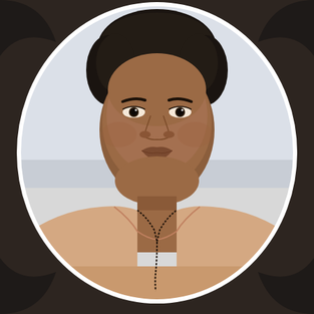[Figure (photo): Portrait photograph of a middle-aged South Asian woman wearing a light beige/peach saree and a dark bead necklace (mangalsutra). She has dark hair pulled back, and is looking directly at the camera with a neutral expression. The photo is presented in an oval white-bordered frame against a dark background.]